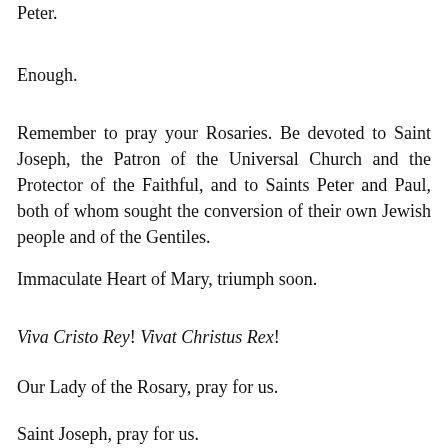by a true and legitimate successor of Saint Peter.
Enough.
Remember to pray your Rosaries. Be devoted to Saint Joseph, the Patron of the Universal Church and the Protector of the Faithful, and to Saints Peter and Paul, both of whom sought the conversion of their own Jewish people and of the Gentiles.
Immaculate Heart of Mary, triumph soon.
Viva Cristo Rey! Vivat Christus Rex!
Our Lady of the Rosary, pray for us.
Saint Joseph, pray for us.